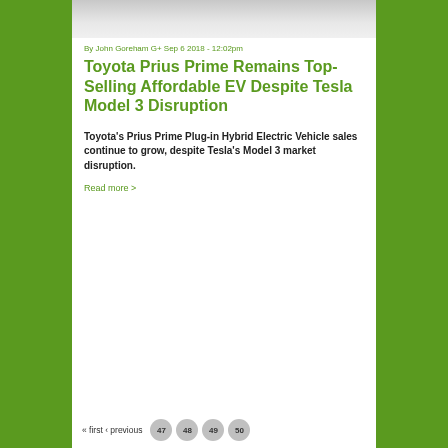[Figure (photo): Top portion of a car (white/light colored vehicle exterior), partially cropped at top of card]
By John Goreham G+ Sep 6 2018 - 12:02pm
Toyota Prius Prime Remains Top-Selling Affordable EV Despite Tesla Model 3 Disruption
Toyota's Prius Prime Plug-in Hybrid Electric Vehicle sales continue to grow, despite Tesla's Model 3 market disruption.
Read more >
« first ‹ previous  47  48  49  50